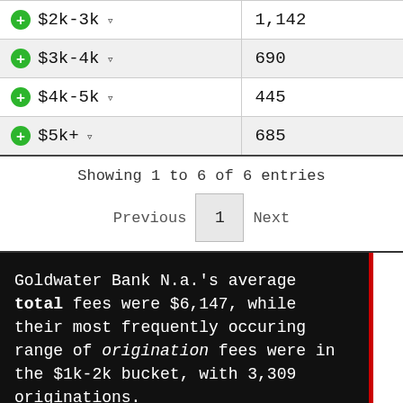| Range | Count |
| --- | --- |
| $2k-3k | 1,142 |
| $3k-4k | 690 |
| $4k-5k | 445 |
| $5k+ | 685 |
Showing 1 to 6 of 6 entries
Previous  1  Next
Goldwater Bank N.a.'s average total fees were $6,147, while their most frequently occuring range of origination fees were in the $1k-2k bucket, with 3,309 originations.